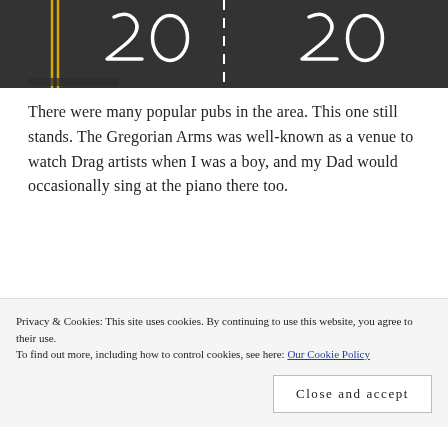[Figure (photo): Aerial/street view photo of a road with large white '20' speed limit markings painted on dark asphalt, double yellow lines visible on the side.]
There were many popular pubs in the area. This one still stands. The Gregorian Arms was well-known as a venue to watch Drag artists when I was a boy, and my Dad would occasionally sing at the piano there too.
[Figure (photo): Partial view of a street scene with trees and buildings, partially obscured by cookie consent banner.]
Privacy & Cookies: This site uses cookies. By continuing to use this website, you agree to their use. To find out more, including how to control cookies, see here: Our Cookie Policy
Close and accept